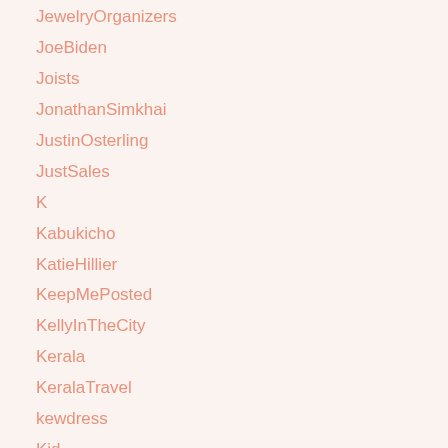JewelryOrganizers
JoeBiden
Joists
JonathanSimkhai
JustinOsterling
JustSales
K
Kabukicho
KatieHillier
KeepMePosted
KellyInTheCity
Kerala
KeralaTravel
kewdress
Kid